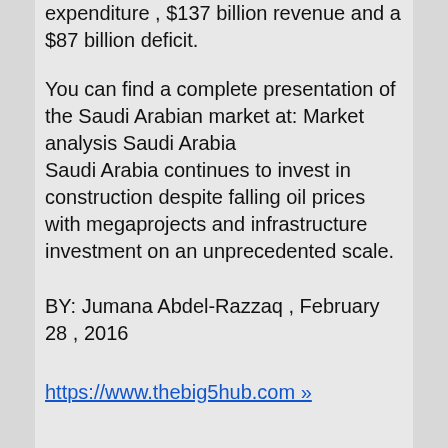expenditure , $137 billion revenue and a $87 billion deficit.
You can find a complete presentation of the Saudi Arabian market at: Market analysis Saudi Arabia
Saudi Arabia continues to invest in construction despite falling oil prices with megaprojects and infrastructure investment on an unprecedented scale.
BY: Jumana Abdel-Razzaq , February 28 , 2016
https://www.thebig5hub.com »